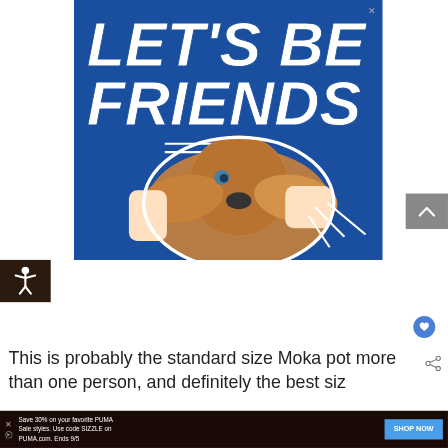[Figure (photo): Advertisement banner with blue background showing text 'LET'S BE FRIENDS' in large white bold italic font, with an image of a beagle dog having its ears spread wide by human hands, and white decorative lines. Has an X close button in top right corner.]
[Figure (other): Gray scroll-up button with upward chevron arrow]
[Figure (other): Dark brown accessibility icon button showing a human figure with arms spread]
[Figure (other): Blue circular heart/favorite button]
This is probably the standard size Moka pot more than one person, and definitely the best siz...o
[Figure (other): Bottom advertisement bar: Save 30% on your favorite PUMA Sale styles. Use code SIZZLE on PUMA.com. Ends 9/5, with SHOP NOW button]